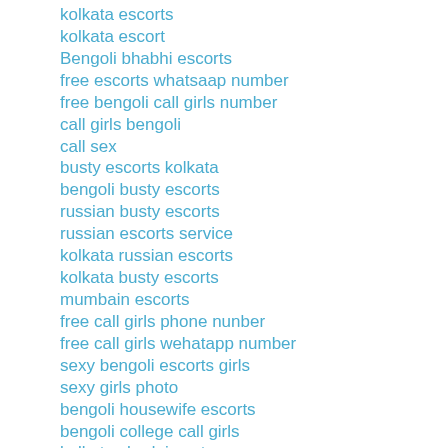kolkata escorts
kolkata escort
Bengoli bhabhi escorts
free escorts whatsaap number
free bengoli call girls number
call girls bengoli
call sex
busty escorts kolkata
bengoli busty escorts
russian busty escorts
russian escorts service
kolkata russian escorts
kolkata busty escorts
mumbain escorts
free call girls phone nunber
free call girls wehatapp number
sexy bengoli escorts girls
sexy girls photo
bengoli housewife escorts
bengoli college call girls
kolkata chudai center
Reply